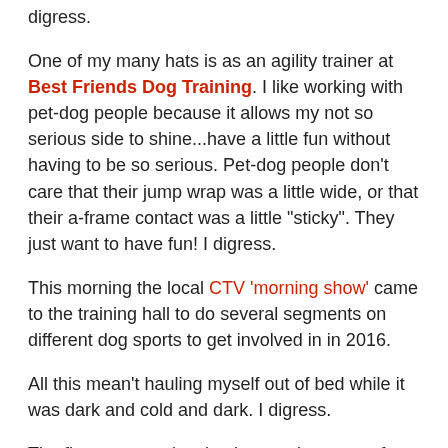digress.
One of my many hats is as an agility trainer at Best Friends Dog Training. I like working with pet-dog people because it allows my not so serious side to shine...have a little fun without having to be so serious. Pet-dog people don't care that their jump wrap was a little wide, or that their a-frame contact was a little "sticky". They just want to have fun! I digress.
This morning the local CTV 'morning show' came to the training hall to do several segments on different dog sports to get involved in in 2016.
All this mean't hauling myself out of bed while it was dark and cold and dark. I digress.
The first segment involved several teasers of flyball runs. My friend and fellow BF agility instructor allowed me the honour of handling one her flyball dogs - Kye. We live shot three teasers of her and I alternating running her two dogs. It was exhausting and loud and screamy. So much yelling. It was